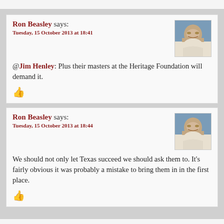Ron Beasley says:
Tuesday, 15 October 2013 at 18:41
@Jim Henley: Plus their masters at the Heritage Foundation will demand it.
Ron Beasley says:
Tuesday, 15 October 2013 at 18:44
We should not only let Texas succeed we should ask them to. It’s fairly obvious it was probably a mistake to bring them in in the first place.